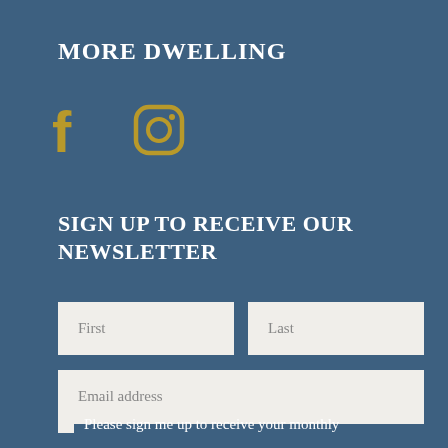MORE DWELLING
[Figure (infographic): Facebook and Instagram social media icons in gold color]
SIGN UP TO RECEIVE OUR NEWSLETTER
First
Last
Email address
Please sign me up to receive your monthly